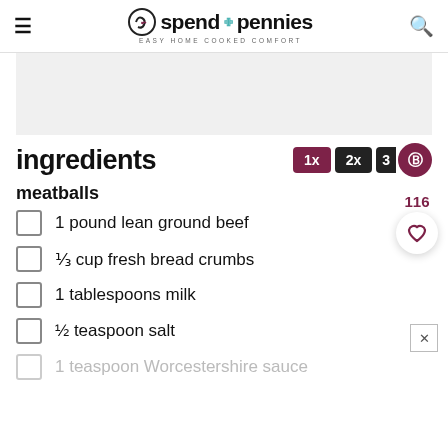spend with pennies — EASY HOME COOKED COMFORT
ingredients
meatballs
1 pound lean ground beef
⅓ cup fresh bread crumbs
1 tablespoons milk
½ teaspoon salt
1 teaspoon Worcestershire sauce